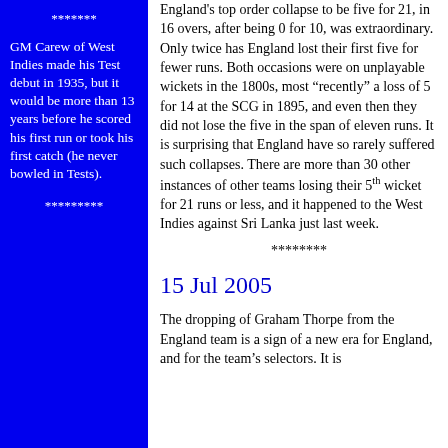*******
GM Carew of West Indies made his Test debut in 1935, but it would be more than 13 years before he scored his first run or took his first catch (he never bowled in Tests).
*********
England's top order collapse to be five for 21, in 16 overs, after being 0 for 10, was extraordinary. Only twice has England lost their first five for fewer runs. Both occasions were on unplayable wickets in the 1800s, most “recently” a loss of 5 for 14 at the SCG in 1895, and even then they did not lose the five in the span of eleven runs. It is surprising that England have so rarely suffered such collapses. There are more than 30 other instances of other teams losing their 5th wicket for 21 runs or less, and it happened to the West Indies against Sri Lanka just last week.
********
15 Jul 2005
The dropping of Graham Thorpe from the England team is a sign of a new era for England, and for the team’s selectors. It is